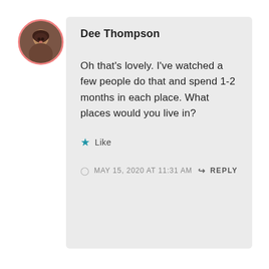[Figure (photo): Circular profile photo of Dee Thompson with pink/salmon border, showing a woman with dark hair]
Dee Thompson
Oh that's lovely. I've watched a few people do that and spend 1-2 months in each place. What places would you live in?
★ Like
MAY 15, 2020 AT 11:31 AM
↪ REPLY